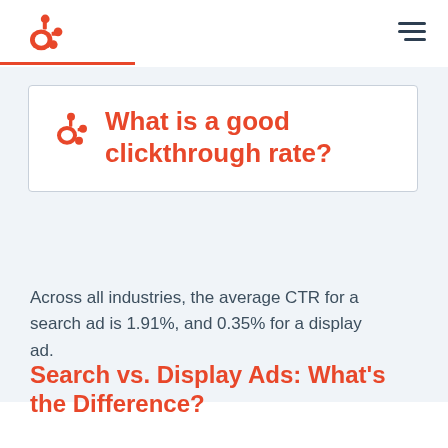HubSpot logo and navigation
What is a good clickthrough rate?
Across all industries, the average CTR for a search ad is 1.91%, and 0.35% for a display ad.
Search vs. Display Ads: What's the Difference?